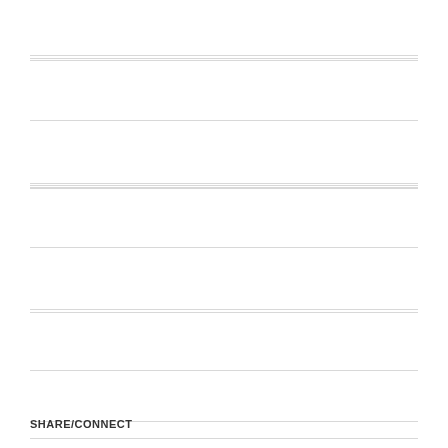[Figure (other): Lined notepad page with 7 horizontal ruled lines evenly spaced across the page]
SHARE/CONNECT